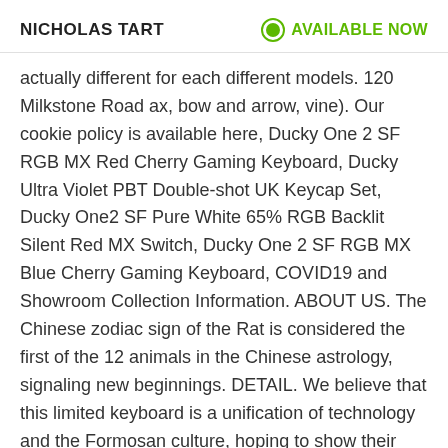NICHOLAS TART | AVAILABLE NOW
actually different for each different models. 120 Milkstone Road ax, bow and arrow, vine). Our cookie policy is available here, Ducky One 2 SF RGB MX Red Cherry Gaming Keyboard, Ducky Ultra Violet PBT Double-shot UK Keycap Set, Ducky One2 SF Pure White 65% RGB Backlit Silent Red MX Switch, Ducky One 2 SF RGB MX Blue Cherry Gaming Keyboard, COVID19 and Showroom Collection Information. ABOUT US. The Chinese zodiac sign of the Rat is considered the first of the 12 animals in the Chinese astrology, signaling new beginnings. DETAIL. We believe that this limited keyboard is a unification of technology and the Formosan culture, hoping to show their spiritual beliefs and vibrant culture to the rest of the world. Did the Ducky Year of the Pig get delayed? Zodiac